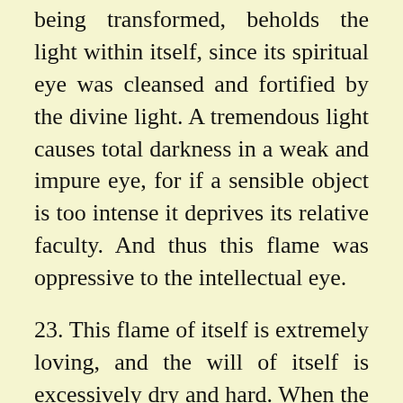being transformed, beholds the light within itself, since its spiritual eye was cleansed and fortified by the divine light. A tremendous light causes total darkness in a weak and impure eye, for if a sensible object is too intense it deprives its relative faculty. And thus this flame was oppressive to the intellectual eye.
23. This flame of itself is extremely loving, and the will of itself is excessively dry and hard. When the flame tenderly and lovingly assails the will, hardness is felt beside the tenderness, and dryness beside the love. The will does not feel the love and tenderness of the flame, since